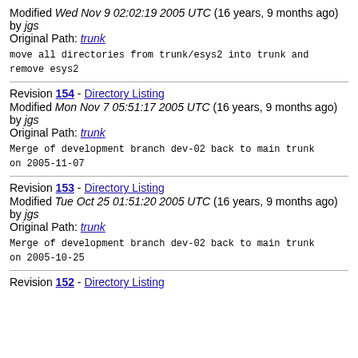Modified Wed Nov 9 02:02:19 2005 UTC (16 years, 9 months ago) by jgs
Original Path: trunk
move all directories from trunk/esys2 into trunk and remove esys2
Revision 154 - Directory Listing
Modified Mon Nov 7 05:51:17 2005 UTC (16 years, 9 months ago) by jgs
Original Path: trunk
Merge of development branch dev-02 back to main trunk on 2005-11-07
Revision 153 - Directory Listing
Modified Tue Oct 25 01:51:20 2005 UTC (16 years, 9 months ago) by jgs
Original Path: trunk
Merge of development branch dev-02 back to main trunk on 2005-10-25
Revision 152 - Directory Listing